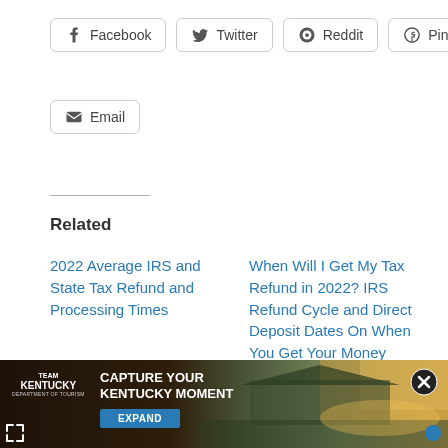[Figure (other): Social share buttons row: Facebook, Twitter, Reddit, Pinterest]
[Figure (other): Email share button]
Related
2022 Average IRS and State Tax Refund and Processing Times
When Will I Get My Tax Refund in 2022? IRS Refund Cycle and Direct Deposit Dates On When You Get Your Money
2022 IRS Refund Schedule and Direct Deposit Payment Dates – When Will I Get My Refund?
[Figure (photo): Team Kentucky advertisement banner: CAPTURE YOUR KENTUCKY MOMENT with EXPAND button and close icon. Background shows a pavilion at sunset.]